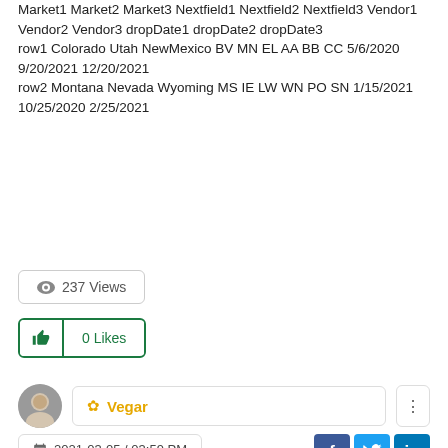Market1 Market2 Market3 Nextfield1 Nextfield2 Nextfield3 Vendor1 Vendor2 Vendor3 dropDate1 dropDate2 dropDate3 row1 Colorado Utah NewMexico BV MN EL AA BB CC 5/6/2020 9/20/2021 12/20/2021 row2 Montana Nevada Wyoming MS IE LW WN PO SN 1/15/2021 10/25/2020 2/25/2021
237 Views
0 Likes
Reply
Vegar
2021-03-05 / 03:59 PM